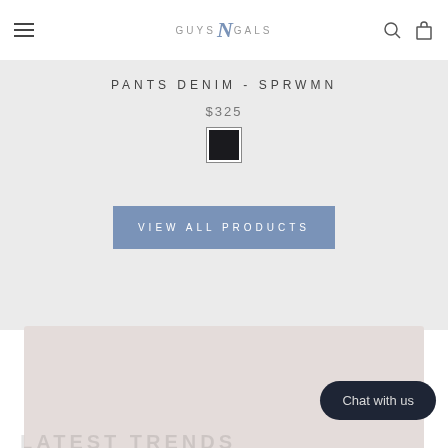GUYS N GALS — navigation header with hamburger menu, logo, search and bag icons
PANTS DENIM - SPRWMN
$325
[Figure (other): Dark/black color swatch square]
VIEW ALL PRODUCTS
[Figure (photo): Large product image area with pinkish-beige background]
Chat with us
LATEST TRENDS